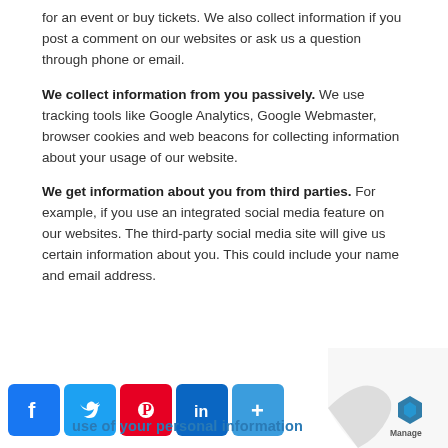for an event or buy tickets. We also collect information if you post a comment on our websites or ask us a question through phone or email.
We collect information from you passively. We use tracking tools like Google Analytics, Google Webmaster, browser cookies and web beacons for collecting information about your usage of our website.
We get information about you from third parties. For example, if you use an integrated social media feature on our websites. The third-party social media site will give us certain information about you. This could include your name and email address.
[Figure (other): Social media share icons: Facebook, Twitter, Pinterest, LinkedIn, and a More (+) button]
[Figure (logo): Page curl graphic with Brafton Manage logo in bottom right corner]
use of your personal information